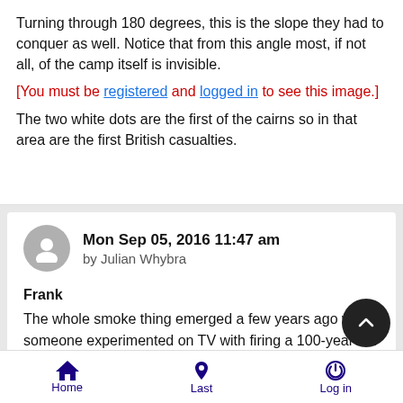Turning through 180 degrees, this is the slope they had to conquer as well. Notice that from this angle most, if not all, of the camp itself is invisible.
[You must be registered and logged in to see this image.]
The two white dots are the first of the cairns so in that area are the first British casualties.
Mon Sep 05, 2016 11:47 am
by Julian Whybra
Frank
The whole smoke thing emerged a few years ago when someone experimented on TV with firing a 100-year old Martini-Henry in a room - and lo and behold was surprised when the room filled with smoke!
In the open air at Isandhlwana the effect would have been
Home  Last  Log in